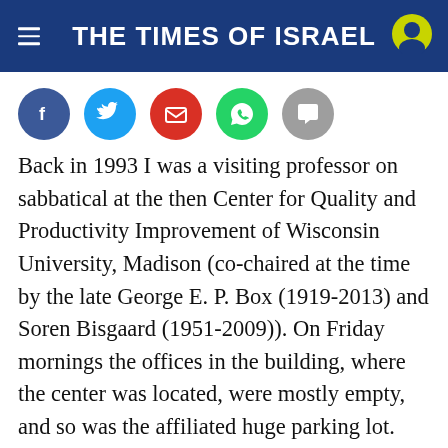THE TIMES OF ISRAEL
[Figure (other): Social sharing buttons: Facebook, Twitter, Email, WhatsApp, Message]
Back in 1993 I was a visiting professor on sabbatical at the then Center for Quality and Productivity Improvement of Wisconsin University, Madison (co-chaired at the time by the late George E. P. Box (1919-2013) and Soren Bisgaard (1951-2009)). On Friday mornings the offices in the building, where the center was located, were mostly empty, and so was the affiliated huge parking lot. One stormy and snowy Friday, I drove to my office at the Center and parked my car in the (nearly empty) parking lot. I went all the way to the building entrance only to be alerted by the guard that one of the rear wheels of my car crossed the white line. I was politely but firmly requested to re-